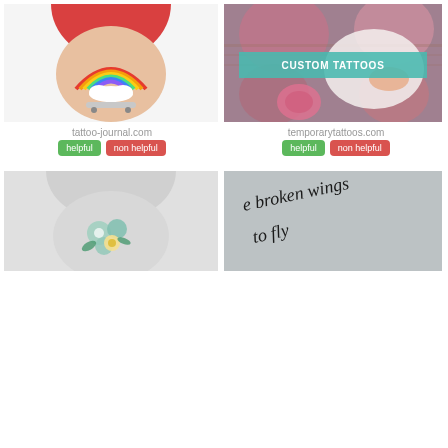[Figure (photo): Photo of a rainbow tattoo on a person's upper arm wearing a red shirt]
[Figure (photo): Custom tattoos promotional image with teal banner overlay reading CUSTOM TATTOOS, showing rose tattoo artwork and hands]
tattoo-journal.com
temporarytattoos.com
helpful
non helpful
helpful
non helpful
[Figure (photo): Photo of a floral tattoo on a person's upper arm wearing a gray shirt]
[Figure (photo): Close-up photo of a script tattoo reading 'broken wings' and 'to fly']